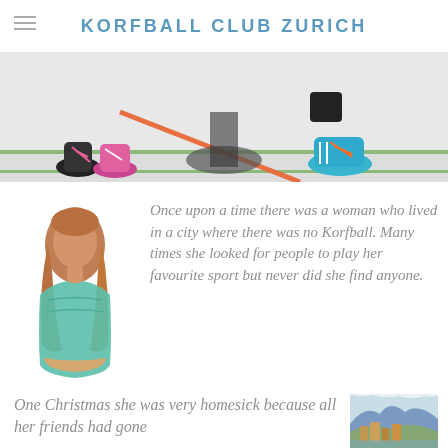KORFBALL CLUB ZURICH
[Figure (photo): Close-up photo of sports shoes on an indoor court floor with colored lines]
[Figure (illustration): Watercolor illustration of a woman with long brown hair wearing a teal/green top]
Once upon a time there was a woman who lived in a city where there was no Korfball. Many times she looked for people to play her favourite sport but never did she find anyone.
One Christmas she was very homesick because all her friends had gone...
[Figure (illustration): Watercolor illustration of a cityscape/landscape]